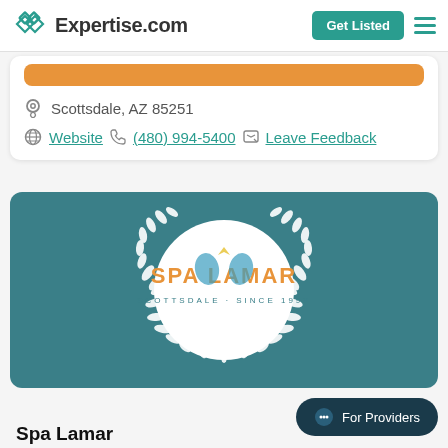Expertise.com
Scottsdale, AZ 85251
Website  (480) 994-5400  Leave Feedback
[Figure (logo): Spa Lamar logo on teal background with laurel wreath]
Spa Lamar